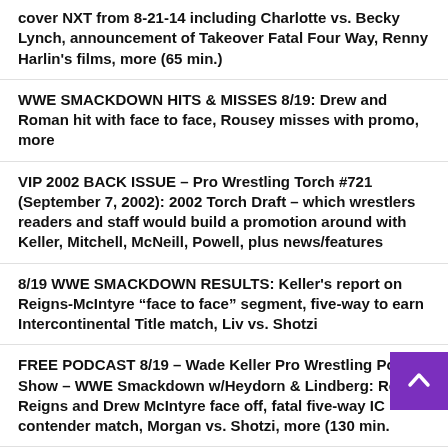cover NXT from 8-21-14 including Charlotte vs. Becky Lynch, announcement of Takeover Fatal Four Way, Renny Harlin's films, more (65 min.)
WWE SMACKDOWN HITS & MISSES 8/19: Drew and Roman hit with face to face, Rousey misses with promo, more
VIP 2002 BACK ISSUE – Pro Wrestling Torch #721 (September 7, 2002): 2002 Torch Draft – which wrestlers readers and staff would build a promotion around with Keller, Mitchell, McNeill, Powell, plus news/features
8/19 WWE SMACKDOWN RESULTS: Keller's report on Reigns-McIntyre “face to face” segment, five-way to earn Intercontinental Title match, Liv vs. Shotzi
FREE PODCAST 8/19 – Wade Keller Pro Wrestling Post-Show – WWE Smackdown w/Heydorn & Lindberg: Roman Reigns and Drew McIntyre face off, fatal five-way IC contender match, Morgan vs. Shotzi, more (130 min.
VIP AUDIO 8/19 – AEW Rampage Post-Show: Best Friends